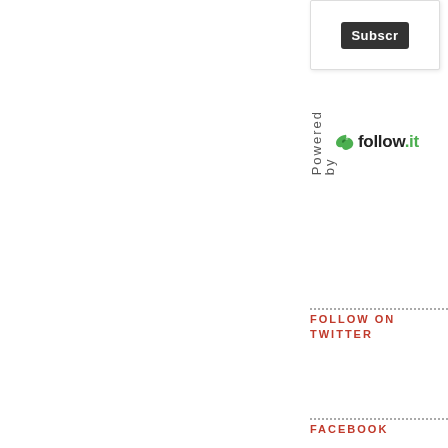[Figure (screenshot): Subscribe button in a white card box]
Powered by
[Figure (logo): follow.it logo with green bird icon]
FOLLOW ON TWITTER
FACEBOOK